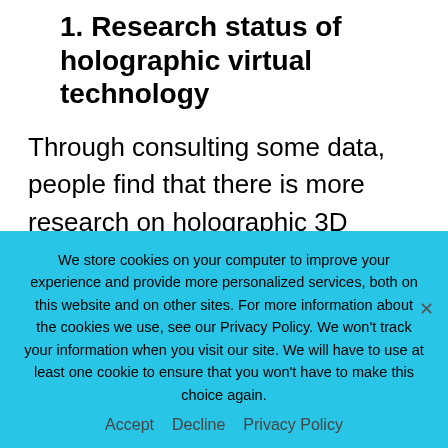1. Research status of holographic virtual technology
Through consulting some data, people find that there is more research on holographic 3D projection technology, and also fund in-depth research on the current field. However, in these studies, three-dimensional holographic projection technology is not systematically described in books. However, from the perspective of the development direction of
We store cookies on your computer to improve your experience and provide more personalized services, both on this website and on other sites. For more information about the cookies we use, see our Privacy Policy. We won't track your information when you visit our site. We will have to use at least one cookie to ensure that you won't have to make this choice again.
Accept   Decline   Privacy Policy